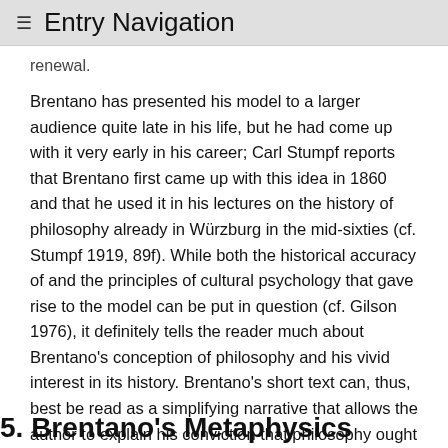≡ Entry Navigation
renewal.
Brentano has presented his model to a larger audience quite late in his life, but he had come up with it very early in his career; Carl Stumpf reports that Brentano first came up with this idea in 1860 and that he used it in his lectures on the history of philosophy already in Würzburg in the mid-sixties (cf. Stumpf 1919, 89f). While both the historical accuracy of and the principles of cultural psychology that gave rise to the model can be put in question (cf. Gilson 1976), it definitely tells the reader much about Brentano's conception of philosophy and his vivid interest in its history. Brentano's short text can, thus, best be read as a simplifying narrative that allows the author to explain his conviction that philosophy ought to pursue of pure, theoretical interests and to express his fascination for philosophers like Aristotle, Thomas, or Descartes as well as his dislike of Plotinus, Nicolas of Cues, Kant, Hegel, and Schelling.
5. Brentano's Metaphysics